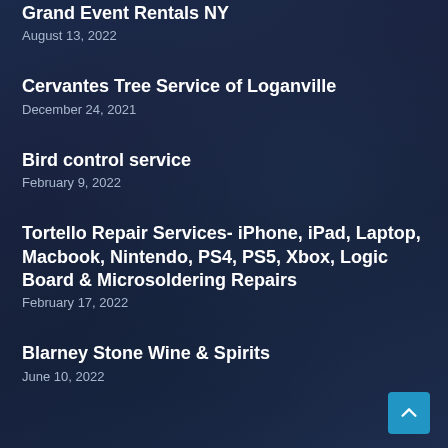Grand Event Rentals NY
August 13, 2022
Cervantes Tree Service of Loganville
December 24, 2021
Bird control service
February 9, 2022
Tortello Repair Services- iPhone, iPad, Laptop, Macbook, Nintendo, PS4, PS5, Xbox, Logic Board & Microsoldering Repairs
February 17, 2022
Blarney Stone Wine & Spirits
June 10, 2022